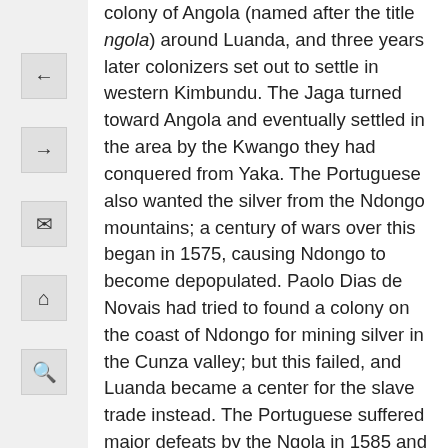colony of Angola (named after the title ngola) around Luanda, and three years later colonizers set out to settle in western Kimbundu. The Jaga turned toward Angola and eventually settled in the area by the Kwango they had conquered from Yaka. The Portuguese also wanted the silver from the Ndongo mountains; a century of wars over this began in 1575, causing Ndongo to become depopulated. Paolo Dias de Novais had tried to found a colony on the coast of Ndongo for mining silver in the Cunza valley; but this failed, and Luanda became a center for the slave trade instead. The Portuguese suffered major defeats by the Ngola in 1585 and five years later by a coalition army of Ndongo, Kongo, Matamba, and Jaga. About 1600 a Luba king named Kibinda Ilunga moved west and founded a new state among the Lunda in the south by the Kasai River. The Por...